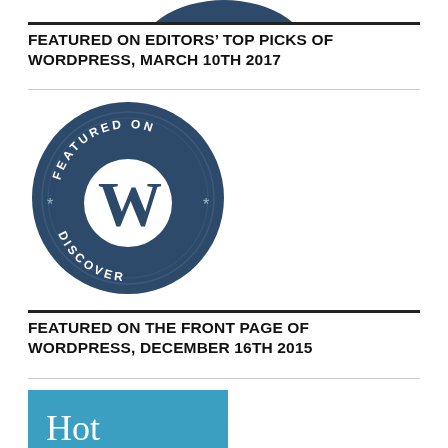[Figure (logo): Partial top of a dark circular badge/logo (WordPress related) cut off at top]
FEATURED ON EDITORS' TOP PICKS OF WORDPRESS, MARCH 10TH 2017
[Figure (logo): WordPress 'Featured on Discover' circular badge with dark navy background, WordPress W logo in center, text 'FEATURED ON' at top and 'DISCOVER' at bottom, asterisk decorations on sides]
FEATURED ON THE FRONT PAGE OF WORDPRESS, DECEMBER 16TH 2015
[Figure (screenshot): Partial blue/teal image with white text 'Hot' visible at bottom of page]